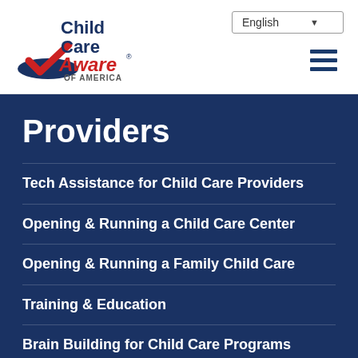[Figure (logo): Child Care Aware of America logo — red and blue text with a red checkmark and blue oval shape]
English ▼
Providers
Tech Assistance for Child Care Providers
Opening & Running a Child Care Center
Opening & Running a Family Child Care
Training & Education
Brain Building for Child Care Programs
Fee Assistance Providers